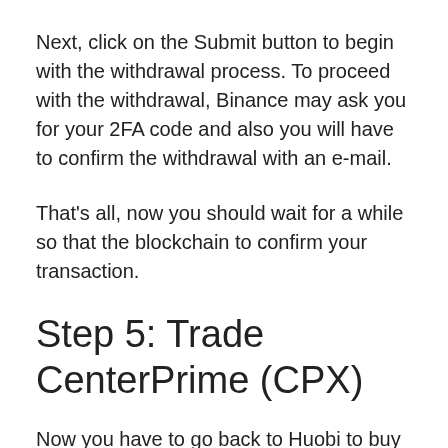Next, click on the Submit button to begin with the withdrawal process. To proceed with the withdrawal, Binance may ask you for your 2FA code and also you will have to confirm the withdrawal with an e-mail.
That's all, now you should wait for a while so that the blockchain to confirm your transaction.
Step 5: Trade CenterPrime (CPX)
Now you have to go back to Huobi to buy CenterPrime (CPX) with the Bitcoins you sent.